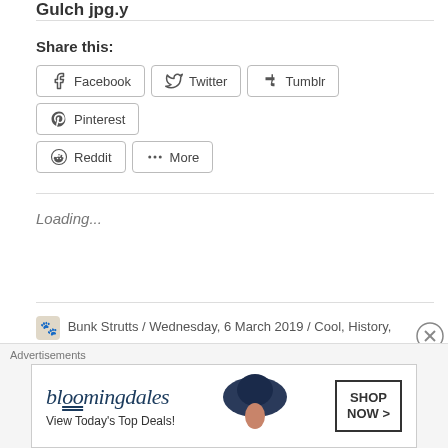Share this:
Facebook  Twitter  Tumblr  Pinterest  Reddit  More
Loading...
Bunk Strutts / Wednesday, 6 March 2019 / Cool, History, Odd / awesome, History, photography, water tower
[Figure (other): Bloomingdale's advertisement banner: 'bloomingdales - View Today's Top Deals! SHOP NOW >']